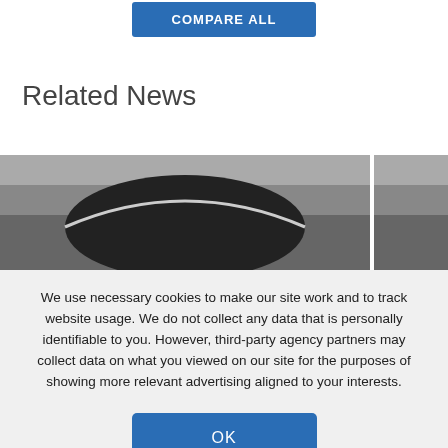COMPARE ALL
Related News
[Figure (photo): Black and white photo of a car roof/hood, close-up, two images side by side partially visible]
We use necessary cookies to make our site work and to track website usage. We do not collect any data that is personally identifiable to you. However, third-party agency partners may collect data on what you viewed on our site for the purposes of showing more relevant advertising aligned to your interests.
OK